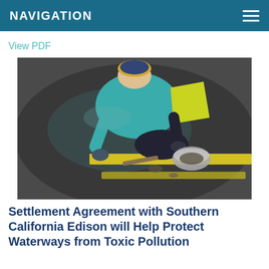NAVIGATION
View PDF
[Figure (photo): A person in a teal jacket and yellow safety vest crouching down near a wet pavement surface with a yellow curb stripe, collecting sediment samples with a metal bowl and tools.]
Settlement Agreement with Southern California Edison will Help Protect Waterways from Toxic Pollution